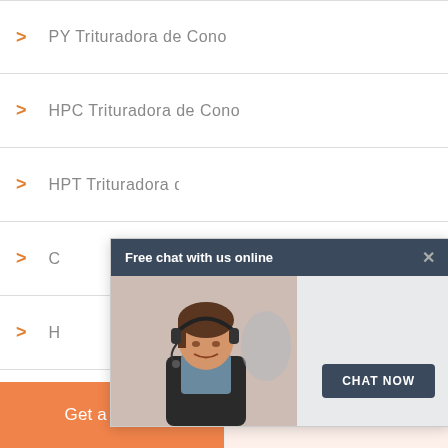PY Trituradora de Cono
HPC Trituradora de Cono
HPT Trituradora de Cono
C... (partially hidden by popup)
H... (partially hidden by popup)
Trituradora de Martillos
VSI Trituradora
[Figure (screenshot): Chat popup overlay with dark header reading 'Free chat with us online' and close button, a photo of a female customer service agent with headset, and a 'CHAT NOW' button]
Get a Quote
WhatsApp